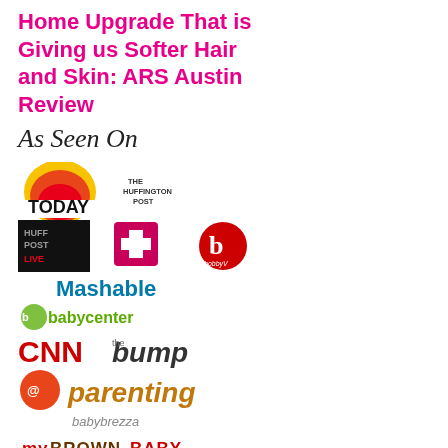Home Upgrade That is Giving us Softer Hair and Skin: ARS Austin Review
As Seen On
[Figure (logo): Collection of media logos: TODAY, The Huffington Post, HuffPost Live, a cross/plus icon, BobbyV, Mashable, BabyCenter, CNN, The Bump, a round icon, Parenting, Baby Brezza, MyBrownBaby, BlogHer]
CATEGORIES
Best-of Motherhood